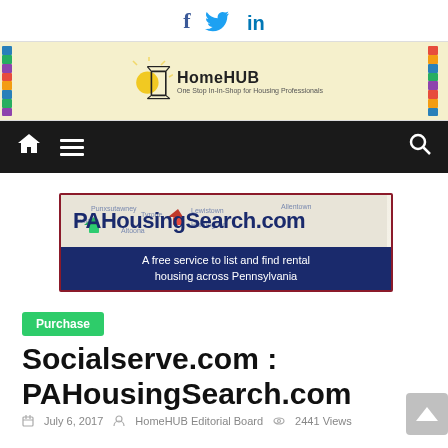[Figure (logo): Social media icons: Facebook (f), Twitter (bird), LinkedIn (in)]
[Figure (logo): HomeHUB banner logo with sun and door graphic, subtitle: One Stop In-In-Shop for Housing Professionals]
[Figure (screenshot): Black navigation bar with home icon, hamburger menu, and search icon]
[Figure (screenshot): PAHousingSearch.com advertisement banner: A free service to list and find rental housing across Pennsylvania]
Purchase
Socialserve.com : PAHousingSearch.com
July 6, 2017   HomeHUB Editorial Board   2441 Views